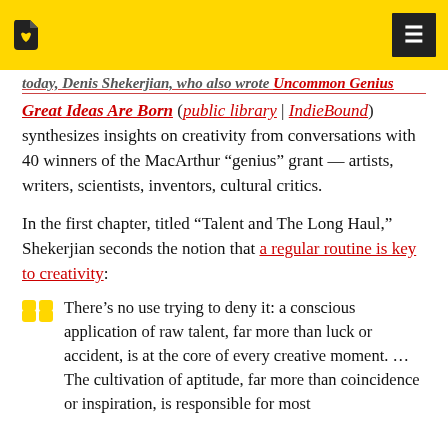[truncated link text] ... Uncommon Genius ...
Great Ideas Are Born (public library | IndieBound)
synthesizes insights on creativity from conversations with 40 winners of the MacArthur “genius” grant — artists, writers, scientists, inventors, cultural critics.
In the first chapter, titled “Talent and The Long Haul,” Shekerjian seconds the notion that a regular routine is key to creativity:
There’s no use trying to deny it: a conscious application of raw talent, far more than luck or accident, is at the core of every creative moment. … The cultivation of aptitude, far more than coincidence or inspiration, is responsible for most